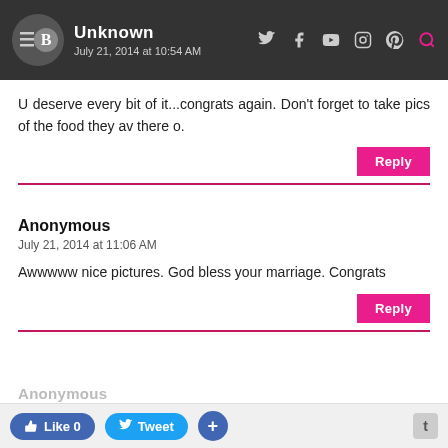Unknown — July 21, 2014 at 10:54 AM
U deserve every bit of it...congrats again. Don't forget to take pics of the food they av there o.
Anonymous
July 21, 2014 at 11:06 AM
Awwwww nice pictures. God bless your marriage. Congrats
Like 0   Tweet   +   t